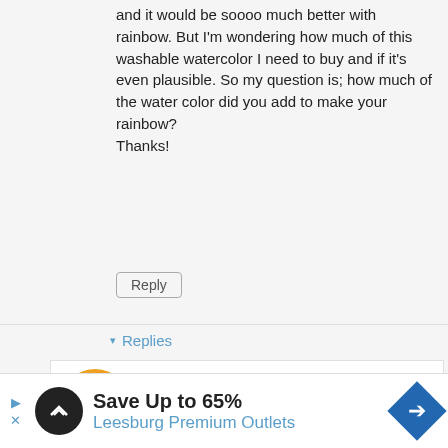and it would be soooo much better with rainbow. But I'm wondering how much of this washable watercolor I need to buy and if it's even plausible. So my question is; how much of the water color did you add to make your rainbow?
Thanks!
Reply
▾ Replies
Asia Citro
April 26, 2015 at 6:26 PM
Is it the size of a regular bouncy house? It only takes a squirt (maybe a teaspoon) to color the amount I talk about making above. I think that a bottle would be fine for each color if it was the size of a bouncy
Save Up to 65%
Leesburg Premium Outlets